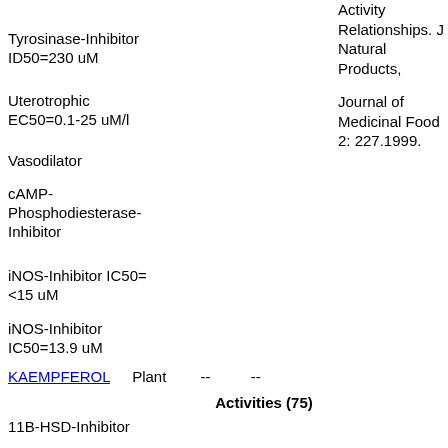Activity Relationships. J Natural Products,
Tyrosinase-Inhibitor ID50=230 uM
Uterotrophic EC50=0.1-25 uM/l
Journal of Medicinal Food 2: 227.1999.
Vasodilator
cAMP-Phosphodiesterase-Inhibitor
iNOS-Inhibitor IC50=<15 uM
iNOS-Inhibitor IC50=13.9 uM
KAEMPFEROL    Plant    --    --
Activities (75)
11B-HSD-Inhibitor
5-Lipoxygenase-Inhibitor IC50 (uM)=20
Oliveira, T. T., Nagem, T. J., Miranda, L. C. F., Teixeira, M. A. 1997. Inhibitory Action o Reductase by Soybean Flavonoids. J Braz C 311-312
Aldose-Reductase-Inhibitor 100 uM